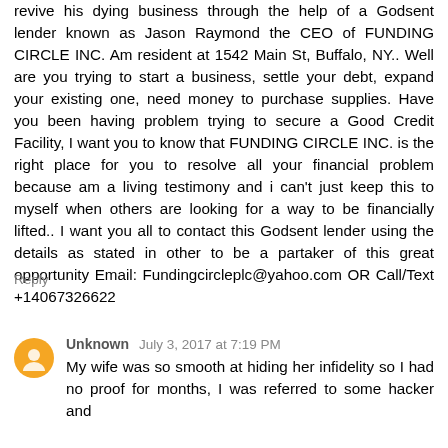revive his dying business through the help of a Godsent lender known as Jason Raymond the CEO of FUNDING CIRCLE INC. Am resident at 1542 Main St, Buffalo, NY.. Well are you trying to start a business, settle your debt, expand your existing one, need money to purchase supplies. Have you been having problem trying to secure a Good Credit Facility, I want you to know that FUNDING CIRCLE INC. is the right place for you to resolve all your financial problem because am a living testimony and i can't just keep this to myself when others are looking for a way to be financially lifted.. I want you all to contact this Godsent lender using the details as stated in other to be a partaker of this great opportunity Email: Fundingcircleplc@yahoo.com OR Call/Text +14067326622
Reply
Unknown July 3, 2017 at 7:19 PM
My wife was so smooth at hiding her infidelity so I had no proof for months, I was referred to some hacker and